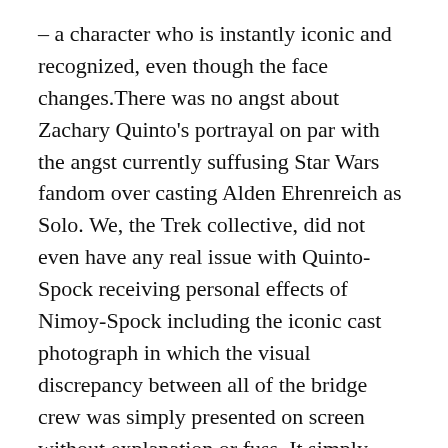– a character who is instantly iconic and recognized, even though the face changes.There was no angst about Zachary Quinto's portrayal on par with the angst currently suffusing Star Wars fandom over casting Alden Ehrenreich as Solo. We, the Trek collective, did not even have any real issue with Quinto-Spock receiving personal effects of Nimoy-Spock including the iconic cast photograph in which the visual discrepancy between all of the bridge crew was simply presented on screen without explanation or fuss. It simply was. It simply is.
Spock must appear in Season 2. We can quibble over warp nacelle shapes and surface veneer